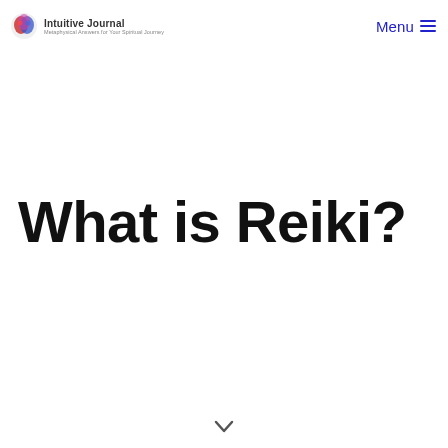Intuitive Journal — Metaphysical Answers for Your Spiritual Journey | Menu
What is Reiki?